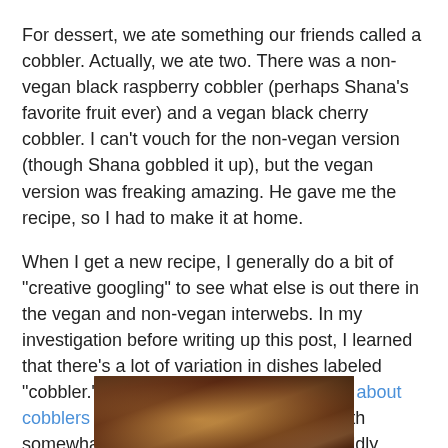For dessert, we ate something our friends called a cobbler. Actually, we ate two. There was a non-vegan black raspberry cobbler (perhaps Shana's favorite fruit ever) and a vegan black cherry cobbler. I can't vouch for the non-vegan version (though Shana gobbled it up), but the vegan version was freaking amazing. He gave me the recipe, so I had to make it at home.
When I get a new recipe, I generally do a bit of "creative googling" to see what else is out there in the vegan and non-vegan interwebs. In my investigation before writing up this post, I learned that there's a lot of variation in dishes labeled "cobbler." The wiki (I know, I know) article about cobblers lists a whole variety of dishes with somewhat similar ingredients but often wildly different preparations. The recipe below could be a cobbler (given the variability inherent in what that means), but it could also be a buckle. Whatever you call it, it's delicious!
[Figure (photo): Partial photo of a cobbler dish, showing a baked golden-brown topping in a dark pan, cropped at the bottom of the page.]